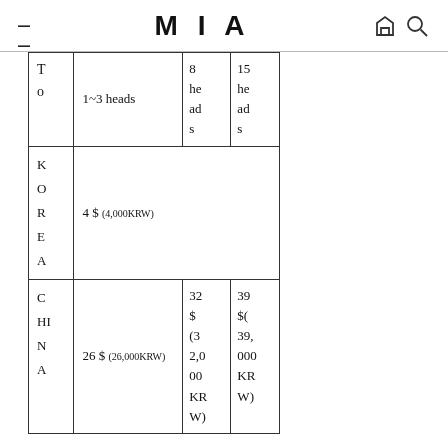MIA
|  |  | 8 heads | 15 heads |
| --- | --- | --- | --- |
| To | 1~3 heads | 8 heads | 15 heads |
| KOREA | 4 $ (4,000KRW) |  |  |
| CHINA | 26 $ (26,000KRW) | 32 $ (32,000KRW) | 39 $(39,000KRW) |